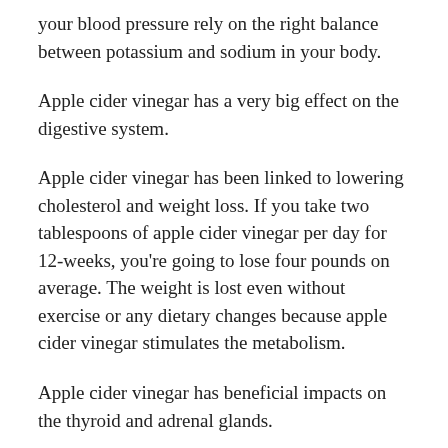your blood pressure rely on the right balance between potassium and sodium in your body.
Apple cider vinegar has a very big effect on the digestive system.
Apple cider vinegar has been linked to lowering cholesterol and weight loss. If you take two tablespoons of apple cider vinegar per day for 12-weeks, you’re going to lose four pounds on average. The weight is lost even without exercise or any dietary changes because apple cider vinegar stimulates the metabolism.
Apple cider vinegar has beneficial impacts on the thyroid and adrenal glands.
Related articles: